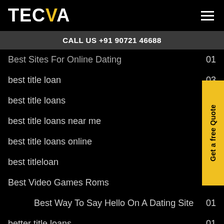TECVA
CALL US +91 90721 46688
Best Sites For Online Dating  01
best title loan  03
best title loans  02
best title loans near me
best title loans online
best titleloan
Best Video Games Roms
Best Way To Say Hello On A Dating Site  01
better title loans  01
bgclive review  01